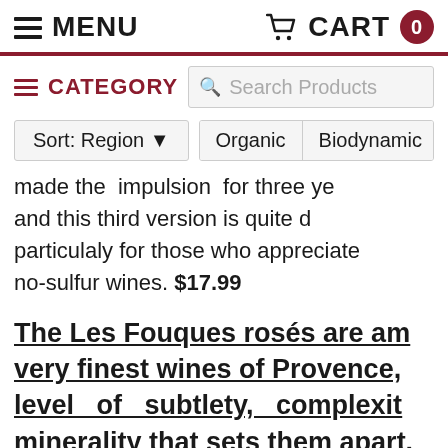MENU   CART 0
CATEGORY   Search Products
Sort: Region  Organic  Biodynamic  L
made the impulsion for three ye... and this third version is quite d... particulaly for those who appreciate... no-sulfur wines. $17.99
The Les Fouques rosés are am... very finest wines of Provence,... level of subtlety, complexit... minerality that sets them apart.